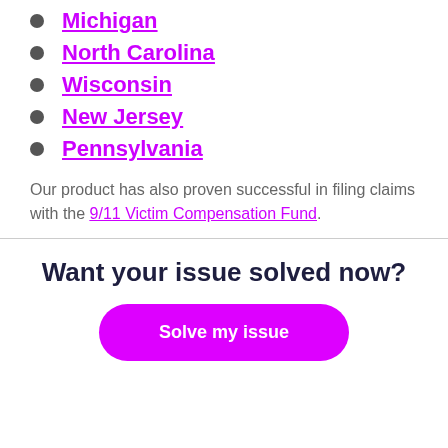Michigan
North Carolina
Wisconsin
New Jersey
Pennsylvania
Our product has also proven successful in filing claims with the 9/11 Victim Compensation Fund.
Want your issue solved now?
Solve my issue